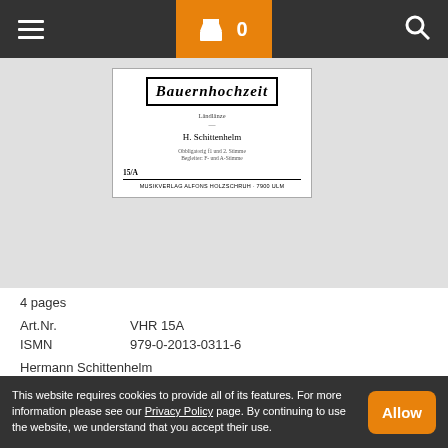Navigation bar with hamburger menu, shopping cart (0 items), and search icon
[Figure (illustration): Book cover for Bauernhochzeit by H. Schittenhelm, published by Musikverlag Alfons Holzschuh, 7900 Ulm. Item number 15/A.]
4 pages
| Art.Nr. | VHR 15A |
| ISMN | 979-0-2013-0311-6 |
Hermann Schittenhelm
Bauernhochzeit
Instrumentation: Akkordeon
This website requires cookies to provide all of its features. For more information please see our Privacy Policy page. By continuing to use the website, we understand that you accept their use.